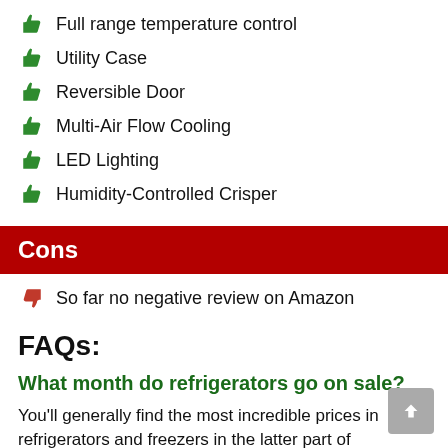Full range temperature control
Utility Case
Reversible Door
Multi-Air Flow Cooling
LED Lighting
Humidity-Controlled Crisper
Cons
So far no negative review on Amazon
FAQs:
What month do refrigerators go on sale?
You'll generally find the most incredible prices in refrigerators and freezers in the latter part of